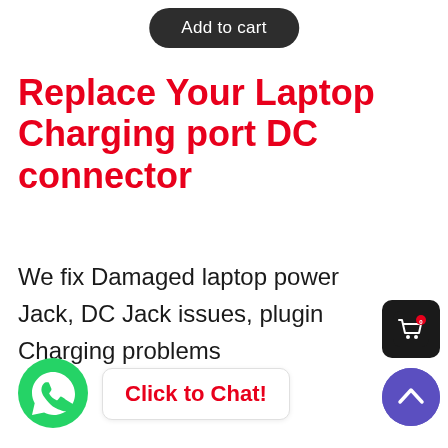Add to cart
Replace Your Laptop Charging port DC connector
We fix Damaged laptop power Jack, DC Jack issues, plugin Charging problems
Click to Chat!